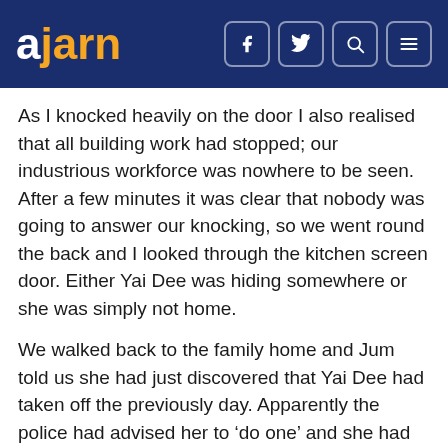ajarn
As I knocked heavily on the door I also realised that all building work had stopped; our industrious workforce was nowhere to be seen. After a few minutes it was clear that nobody was going to answer our knocking, so we went round the back and I looked through the kitchen screen door. Either Yai Dee was hiding somewhere or she was simply not home.
We walked back to the family home and Jum told us she had just discovered that Yai Dee had taken off the previously day. Apparently the police had advised her to ‘do one’ and she had followed their instructions. Jum’s mother had explained to her the way that things were going to be.
‘Phil, nobody will help us!’
So the family had ruled in favour of the old cow who had now absconded and here we were again, at the bottom of the Naenudon food chain. But it wasn’t all bad news; they had agreed to pay the grand sum of 50,000 Thai baht to help with